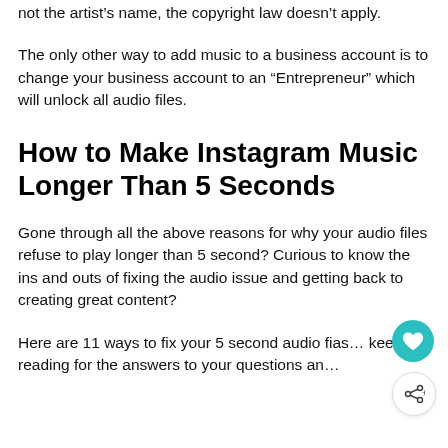not the artist's name, the copyright law doesn't apply.
The only other way to add music to a business account is to change your business account to an “Entrepreneur” which will unlock all audio files.
How to Make Instagram Music Longer Than 5 Seconds
Gone through all the above reasons for why your audio files refuse to play longer than 5 second? Curious to know the ins and outs of fixing the audio issue and getting back to creating great content?
Here are 11 ways to fix your 5 second audio fias… keep reading for the answers to your questions an…